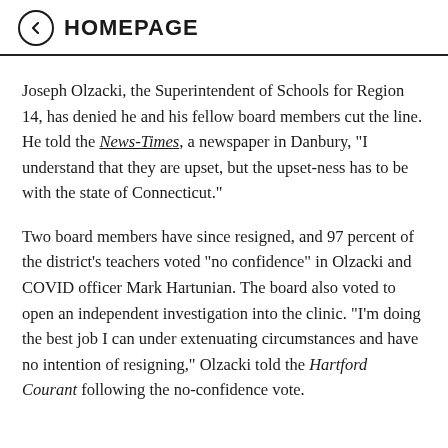← HOMEPAGE
Joseph Olzacki, the Superintendent of Schools for Region 14, has denied he and his fellow board members cut the line. He told the News-Times, a newspaper in Danbury, "I understand that they are upset, but the upset-ness has to be with the state of Connecticut."
Two board members have since resigned, and 97 percent of the district's teachers voted "no confidence" in Olzacki and COVID officer Mark Hartunian. The board also voted to open an independent investigation into the clinic. "I'm doing the best job I can under extenuating circumstances and have no intention of resigning," Olzacki told the Hartford Courant following the no-confidence vote.